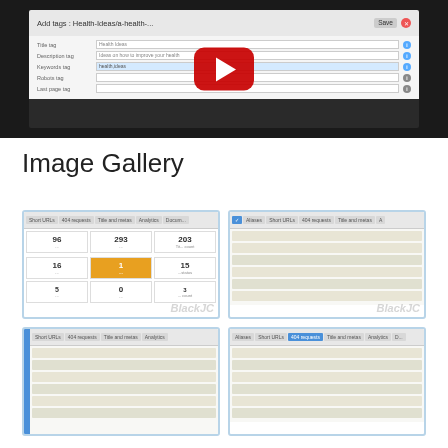[Figure (screenshot): Video thumbnail showing a web UI for adding tags, with a YouTube play button overlay. The interface shows 'Add tags: Health-Ideas/a-health-...' with form fields for tag title, description, keywords, status, and last page tag. Buttons for Save and Cancel visible.]
Image Gallery
[Figure (screenshot): Screenshot of web analytics dashboard tab showing Short URLs, 404 requests, Title and metas, Analytics, Documentation tabs. Dashboard cells show numbers: 96, 293, 203, 16, 1 (highlighted in orange), 15, 5, 0. BlackJC watermark visible.]
[Figure (screenshot): Screenshot showing Aliases, Short URLs, 404 requests, Title and metas tab navigation with rows of beige/tan colored content rows below. BlackJC watermark visible.]
[Figure (screenshot): Screenshot showing Short URLs, 404 requests, Title and metas, Analytics tabs with blue highlighted left edge. Content area shows beige rows below.]
[Figure (screenshot): Screenshot showing Aliases, Short URLs, 404 requests (highlighted in blue), Title and metas, Analytics tabs. Content area shows beige rows below.]